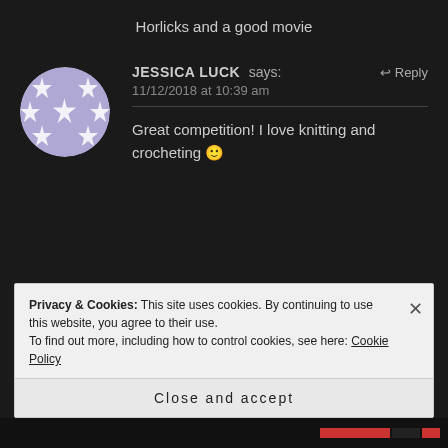Horlicks and a good movie
JESSICA LUCK says: 11/12/2018 at 10:39 am
Great competition! I love knitting and crocheting 🙂
Privacy & Cookies: This site uses cookies. By continuing to use this website, you agree to their use.
To find out more, including how to control cookies, see here: Cookie Policy
Close and accept